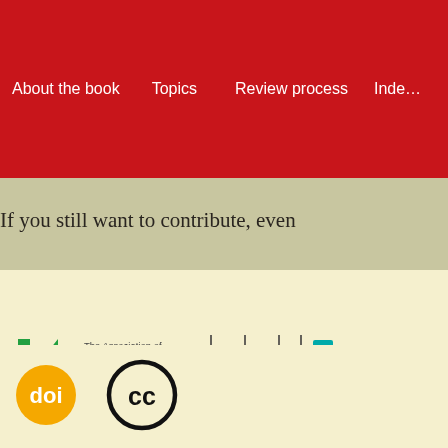About the book   Topics   Review process   Index
If you still want to contribute, even
[Figure (logo): ALPSP logo - The Association of Learned & Professional Society Publishers]
[Figure (logo): COPE logo with vertical bars separating letters C O P E]
[Figure (logo): Partial green logo (right edge cut off)]
[Figure (logo): DOI logo - orange circle with white text 'doi']
[Figure (logo): Creative Commons (CC) logo - black circle with CC letters]